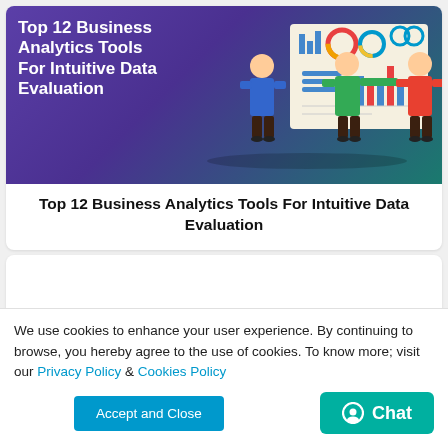[Figure (illustration): Banner illustration with purple/teal gradient background showing text 'Top 12 Business Analytics Tools For Intuitive Data Evaluation' on the left, and cartoon figures of people presenting charts and dashboards on the right]
Top 12 Business Analytics Tools For Intuitive Data Evaluation
We use cookies to enhance your user experience. By continuing to browse, you hereby agree to the use of cookies. To know more; visit our Privacy Policy & Cookies Policy
Accept and Close | Chat